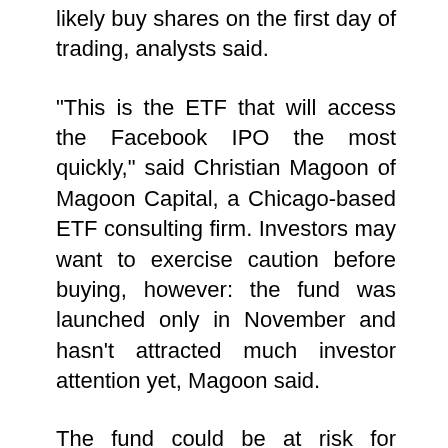likely buy shares on the first day of trading, analysts said.
"This is the ETF that will access the Facebook IPO the most quickly," said Christian Magoon of Magoon Capital, a Chicago-based ETF consulting firm. Investors may want to exercise caution before buying, however: the fund was launched only in November and hasn't attracted much investor attention yet, Magoon said.
The fund could be at risk for closure if it doesn't reach at least $30 million in assets